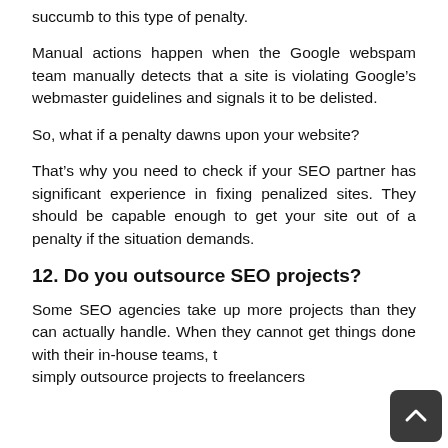succumb to this type of penalty.
Manual actions happen when the Google webspam team manually detects that a site is violating Google's webmaster guidelines and signals it to be delisted.
So, what if a penalty dawns upon your website?
That's why you need to check if your SEO partner has significant experience in fixing penalized sites. They should be capable enough to get your site out of a penalty if the situation demands.
12. Do you outsource SEO projects?
Some SEO agencies take up more projects than they can actually handle. When they cannot get things done with their in-house teams, they simply outsource projects to freelancers